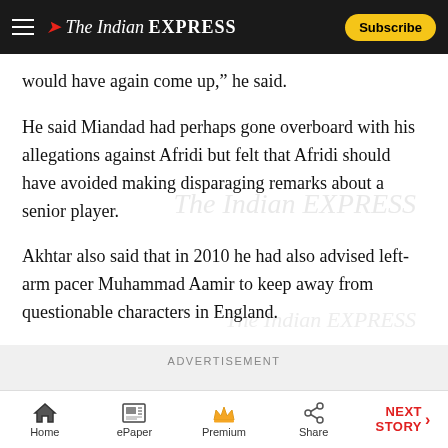The Indian EXPRESS — Subscribe
would have again come up,” he said.
He said Miandad had perhaps gone overboard with his allegations against Afridi but felt that Afridi should have avoided making disparaging remarks about a senior player.
Akhtar also said that in 2010 he had also advised left-arm pacer Muhammad Aamir to keep away from questionable characters in England.
ADVERTISEMENT
Home | ePaper | Premium | Share | NEXT STORY